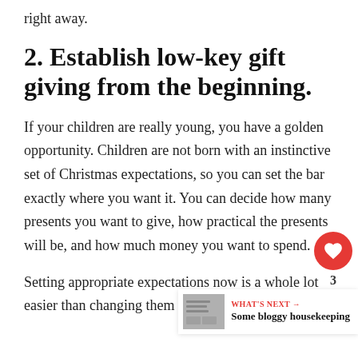right away.
2. Establish low-key gift giving from the beginning.
If your children are really young, you have a golden opportunity. Children are not born with an instinctive set of Christmas expectations, so you can set the bar exactly where you want it. You can decide how many presents you want to give, how practical the presents will be, and how much money you want to spend.
Setting appropriate expectations now is a whole lot easier than changing them later on!